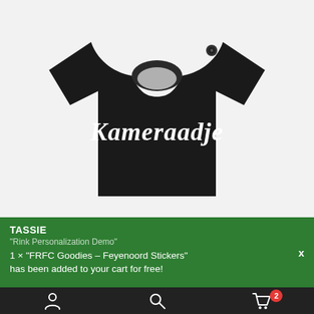[Figure (photo): Black baby/toddler t-shirt with white gothic/old-english style text 'Kameraadje' printed on the chest, photographed on a white background]
TASSIE
"Rink Personalization Demo"
1 × "FRFC Goodies – Feyenoord Stickers" has been added to your cart for free!
x
[Figure (infographic): Bottom navigation bar with person/account icon, search/magnifying glass icon, and shopping cart icon with red badge showing '2']